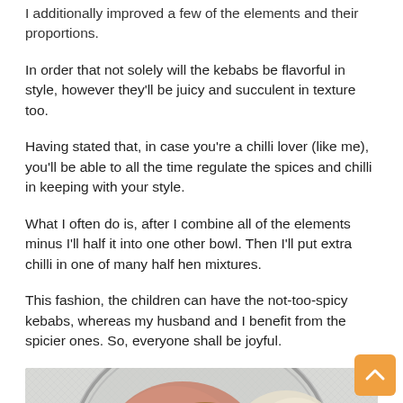I additionally improved a few of the elements and their proportions.
In order that not solely will the kebabs be flavorful in style, however they’ll be juicy and succulent in texture too.
Having stated that, in case you’re a chilli lover (like me), you’ll be able to all the time regulate the spices and chilli in keeping with your style.
What I often do is, after I combine all of the elements minus I’ll half it into one other bowl. Then I’ll put extra chilli in one of many half hen mixtures.
This fashion, the children can have the not-too-spicy kebabs, whereas my husband and I benefit from the spicier ones. So, everyone shall be joyful.
[Figure (photo): A glass bowl viewed from above containing raw chicken with spices and chopped onions/garlic, on a light background.]